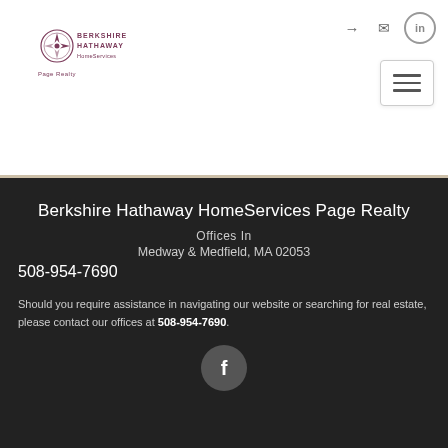[Figure (logo): Berkshire Hathaway HomeServices Page Realty logo with compass rose icon]
Berkshire Hathaway HomeServices Page Realty
Offices In
Medway & Medfield, MA 02053
508-954-7690
Should you require assistance in navigating our website or searching for real estate, please contact our offices at 508-954-7690.